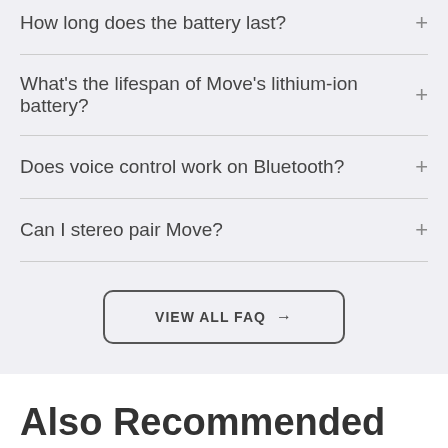How long does the battery last?
What's the lifespan of Move's lithium-ion battery?
Does voice control work on Bluetooth?
Can I stereo pair Move?
VIEW ALL FAQ →
Also Recommended For You
BUY NOW